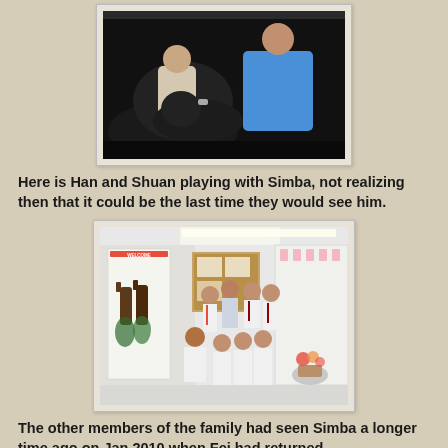[Figure (photo): Two young people playing with a dark-colored dog, one wearing a blue polo shirt]
Here is Han and Shuan playing with Simba, not realizing then that it could be the last time they would see him.
[Figure (photo): Group photo of several people including adults and children in a room with a Welcome banner and wine bottles display, some wearing white shirts and ties]
The other members of the family had seen Simba a longer time ago on Jan 2010 when Fei had returned